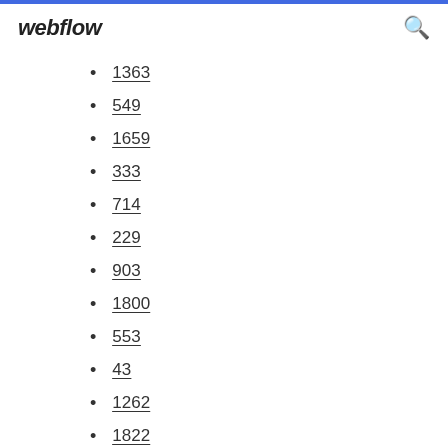webflow
1363
549
1659
333
714
229
903
1800
553
43
1262
1822